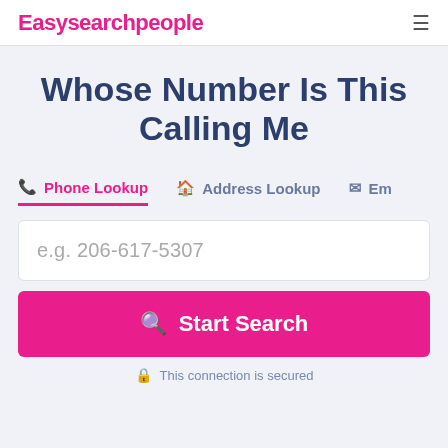Easysearchpeople
Whose Number Is This Calling Me
Phone Lookup | Address Lookup | Em...
e.g. 206-617-5307
Start Search
This connection is secured